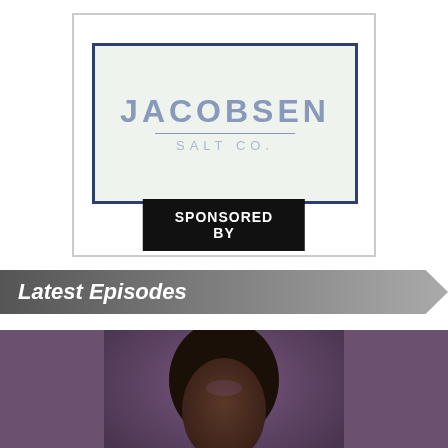[Figure (logo): Jacobsen Salt Co. logo in a mint/pale green box with dark navy border, text reads JACOBSEN above a horizontal line, SALT CO. below]
SPONSORED BY
Latest Episodes
[Figure (photo): Portrait photo of a person, showing the top of their head and face with a purple-brown blurred background]